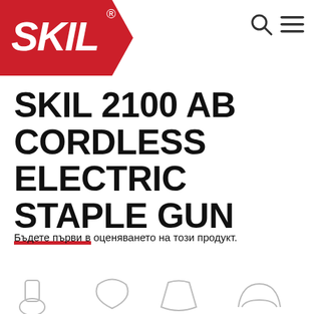[Figure (logo): SKIL brand logo — white italic bold text on red pentagon/chevron background]
[Figure (other): Search icon (magnifying glass) and hamburger menu icon in top right corner]
SKIL 2100 AB CORDLESS ELECTRIC STAPLE GUN
Бъдете първи в оценяването на този продукт.
[Figure (other): Partial product icons/icons row visible at the very bottom of the page]